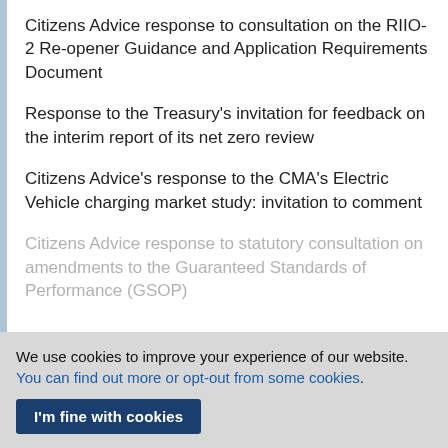Citizens Advice response to consultation on the RIIO-2 Re-opener Guidance and Application Requirements Document
Response to the Treasury’s invitation for feedback on the interim report of its net zero review
Citizens Advice’s response to the CMA’s Electric Vehicle charging market study: invitation to comment
Citizens Advice response to statutory consultation on amendments to the Guaranteed Standards of Performance (GSOP)
We use cookies to improve your experience of our website. You can find out more or opt-out from some cookies.
I’m fine with cookies